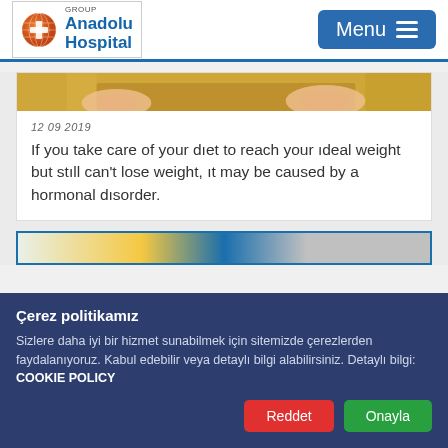Anadolu Hospital | Menu
[Figure (photo): Partial view of a person's hands over a plate of food, cropped at top of card]
12 09 2019
If you take care of your diet to reach your ideal weight but still can't lose weight, it may be caused by a hormonal disorder.
[Figure (photo): Bottom stub of another article card, partially visible with orange and blue elements]
Çerez politikamız
Sizlere daha iyi bir hizmet sunabilmek için sitemizde çerezlerden faydalanıyoruz. Kabul edebilir veya detaylı bilgi alabilirsiniz. Detaylı bilgi: COOKIE POLICY
Reddet | Onayla